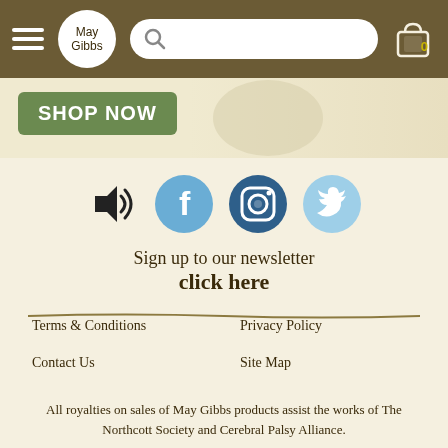[Figure (screenshot): Website header with hamburger menu, May Gibbs logo, search bar, and cart icon with 0 badge]
[Figure (screenshot): Shop Now button on hero banner with decorative items]
[Figure (illustration): Social media icons row: speaker/audio icon, Facebook, Instagram, Twitter]
Sign up to our newsletter
click here
[Figure (illustration): Decorative horizontal divider line]
Terms & Conditions
Privacy Policy
Contact Us
Site Map
[Figure (illustration): Decorative leaf/vine border divider]
All royalties on sales of May Gibbs products assist the works of The Northcott Society and Cerebral Palsy Alliance.